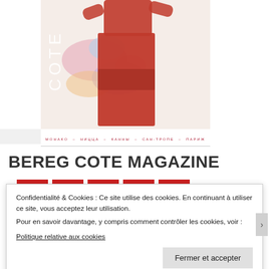[Figure (photo): Magazine cover of BEREG COTE showing a woman in a red dress with colorful paint splash background. The magazine cover includes the title 'COTE' vertically on the left side in white letters and a navigation strip at bottom reading 'МОНАКО – НИЦЦА – КАННЫ – САН-ТРОПЕ – ПАРИЖ' in red text on white background.]
BEREG COTE MAGAZINE
Confidentialité & Cookies : Ce site utilise des cookies. En continuant à utiliser ce site, vous acceptez leur utilisation.
Pour en savoir davantage, y compris comment contrôler les cookies, voir :
Politique relative aux cookies
Fermer et accepter